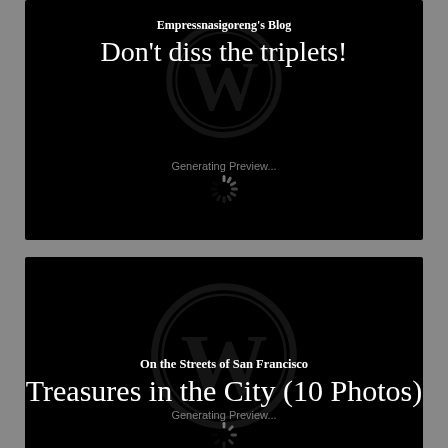[Figure (screenshot): Blog preview card 1: Empressnasigoreng's Blog with title 'Don't diss the triplets!' on black background with WordPress logo watermark and 'Generating Preview...' loading indicator]
[Figure (screenshot): Blog preview card 2: On the Streets of San Francisco blog with title 'Treasures in the City (10 Photos)' on black background with WordPress logo watermark and 'Generating Preview...' loading indicator]
[Figure (screenshot): Blog preview card 3: An old fart back in school blog with title 'Weekly Photo Challenge: Treasures of Academi...' on black background with WordPress logo watermark]